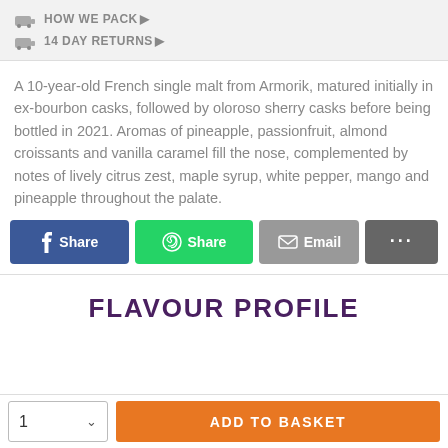HOW WE PACK▶
14 DAY RETURNS▶
A 10-year-old French single malt from Armorik, matured initially in ex-bourbon casks, followed by oloroso sherry casks before being bottled in 2021. Aromas of pineapple, passionfruit, almond croissants and vanilla caramel fill the nose, complemented by notes of lively citrus zest, maple syrup, white pepper, mango and pineapple throughout the palate.
FLAVOUR PROFILE